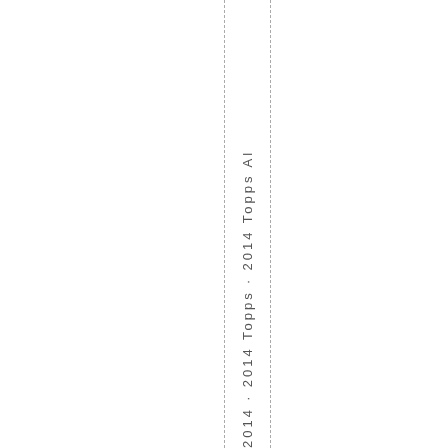2014 · 2014 Topps · 2014 Topps Al